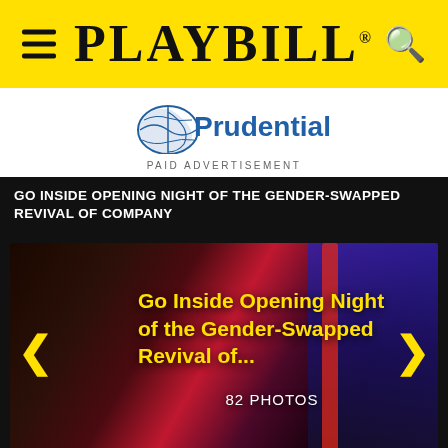PLAYBILL
[Figure (logo): Prudential logo with rock/globe icon and blue text]
PAID ADVERTISEMENT
GO INSIDE OPENING NIGHT OF THE GENDER-SWAPPED REVIVAL OF COMPANY
[Figure (photo): Slideshow with text overlay: Go Inside Opening Night of the Gender-Swapped Revival of... 82 PHOTOS, with left and right navigation arrows]